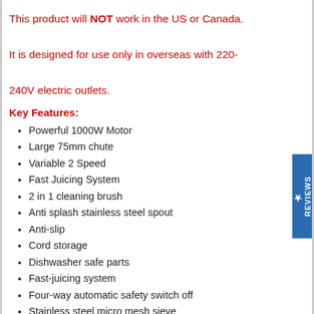This product will NOT work in the US or Canada. It is designed for use only in overseas with 220-240V electric outlets.
Key Features:
Powerful 1000W Motor
Large 75mm chute
Variable 2 Speed
Fast Juicing System
2 in 1 cleaning brush
Anti splash stainless steel spout
Anti-slip
Cord storage
Dishwasher safe parts
Fast-juicing system
Four-way automatic safety switch off
Stainless steel micro mesh sieve
220V 50Hz for overseas use only